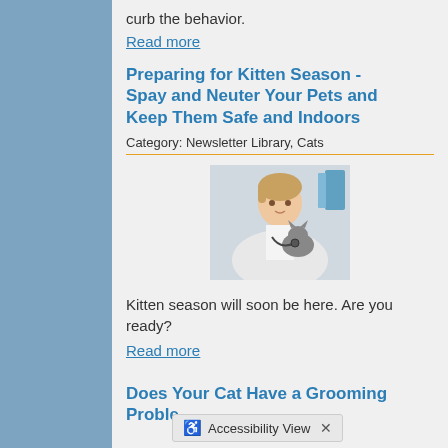curb the behavior.
Read more
Preparing for Kitten Season - Spay and Neuter Your Pets and Keep Them Safe and Indoors
Category: Newsletter Library, Cats
[Figure (photo): Veterinarian examining a grey kitten with a stethoscope]
Kitten season will soon be here. Are you ready?
Read more
Does Your Cat Have a Grooming Problem?
Accessibility View